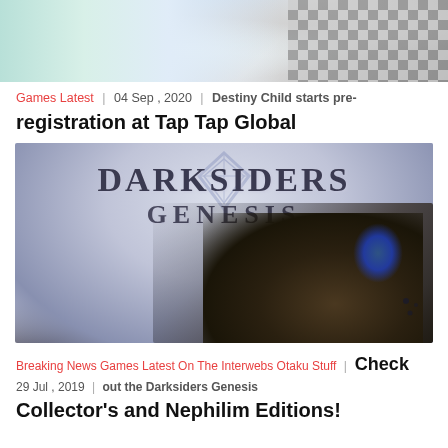[Figure (photo): Top cropped image showing anime/game character on left with teal hair and a checkered pattern on the right side]
Games Latest | 04 Sep , 2020
Destiny Child starts pre-registration at Tap Tap Global
[Figure (photo): Darksiders Genesis game cover art showing the Darksiders Genesis logo with a diamond emblem above, and a dark armored character with blue accents holding guns on the right side]
Breaking News Games Latest On The Interwebs Otaku Stuff | Check 29 Jul , 2019 |
out the Darksiders Genesis Collector's and Nephilim Editions!